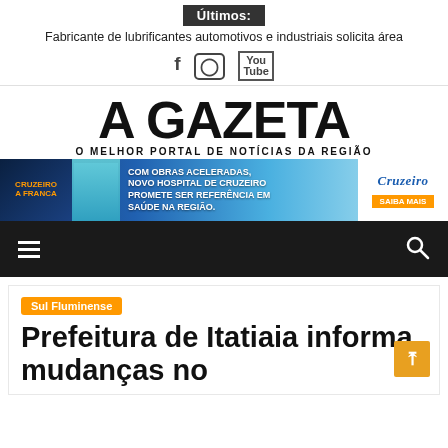Últimos:
Fabricante de lubrificantes automotivos e industriais solicita área
[Figure (other): Social media icons: Facebook, Instagram, YouTube]
A GAZETA
O MELHOR PORTAL DE NOTÍCIAS DA REGIÃO
[Figure (other): Advertisement banner: Com obras aceleradas, novo hospital de Cruzeiro promete ser referência em saúde na região. Saiba mais. Cruzeiro logo.]
[Figure (other): Navigation bar with hamburger menu icon and search icon on dark background]
Sul Fluminense
Prefeitura de Itatiaia informa mudanças no